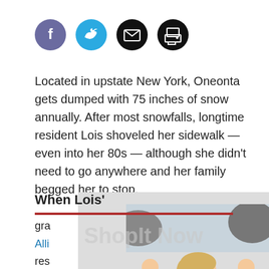[Figure (infographic): Four social media sharing icons: Facebook (purple circle with f), Twitter (blue circle with bird), Email (black circle with envelope), Print (black circle with printer)]
Located in upstate New York, Oneonta gets dumped with 75 inches of snow annually. After most snowfalls, longtime resident Lois shoveled her sidewalk — even into her 80s — although she didn't need to go anywhere and her family begged her to stop.
When Lois' gra Alli res for de f